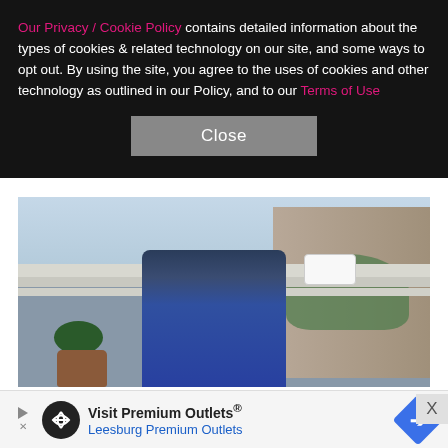Our Privacy / Cookie Policy contains detailed information about the types of cookies & related technology on our site, and some ways to opt out. By using the site, you agree to the uses of cookies and other technology as outlined in our Policy, and to our Terms of Use
[Figure (photo): Person wearing blue jeans standing on a balcony holding a mug, with city buildings and trees visible in the background]
Lizzy, for instance, has over 200,000 followers. A mom of three who's married to plastic surgeon Dr. Ira
[Figure (other): Advertisement banner: Visit Premium Outlets® Leesburg Premium Outlets with logo and arrow icon]